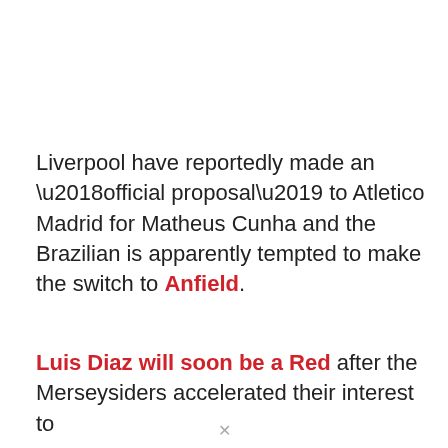Liverpool have reportedly made an ‘official proposal’ to Atletico Madrid for Matheus Cunha and the Brazilian is apparently tempted to make the switch to Anfield.
Luis Diaz will soon be a Red after the Merseysiders accelerated their interest to